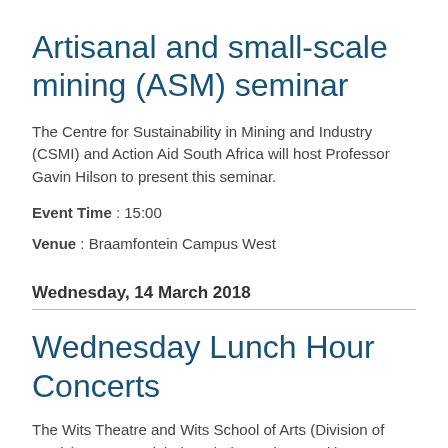Artisanal and small-scale mining (ASM) seminar
The Centre for Sustainability in Mining and Industry (CSMI) and Action Aid South Africa will host Professor Gavin Hilson to present this seminar.
Event Time : 15:00
Venue : Braamfontein Campus West
Wednesday, 14 March 2018
Wednesday Lunch Hour Concerts
The Wits Theatre and Wits School of Arts (Division of Music) presents Nicholas Bjorkman (Drum Kit)